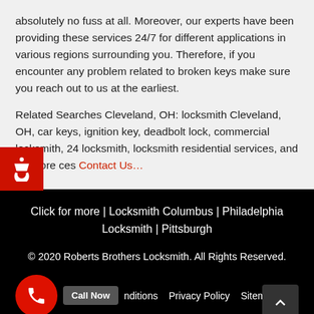absolutely no fuss at all. Moreover, our experts have been providing these services 24/7 for different applications in various regions surrounding you. Therefore, if you encounter any problem related to broken keys make sure you reach out to us at the earliest.
Related Searches Cleveland, OH: locksmith Cleveland, OH, car keys, ignition key, deadbolt lock, commercial locksmith, 24 locksmith, locksmith residential services, and for more ces Contact Us…
Click for more | Locksmith Columbus | Philadelphia Locksmith | Pittsburgh
© 2020 Roberts Brothers Locksmith. All Rights Reserved.
Terms & Conditions  Privacy Policy  Sitemap  Call Now